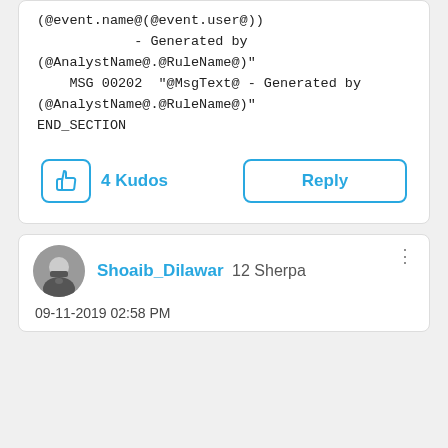(@event.name@(@event.user@))
            - Generated by
(@AnalystName@.@RuleName@)"
    MSG 00202  "@MsgText@ - Generated by
(@AnalystName@.@RuleName@)"
END_SECTION
4 Kudos
Reply
Shoaib_Dilawar 12 Sherpa
09-11-2019 02:58 PM